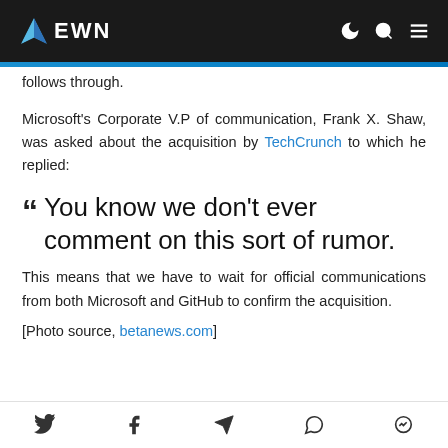EWN
follows through.
Microsoft's Corporate V.P of communication, Frank X. Shaw, was asked about the acquisition by TechCrunch to which he replied:
You know we don't ever comment on this sort of rumor.
This means that we have to wait for official communications from both Microsoft and GitHub to confirm the acquisition.
[Photo source, betanews.com]
Social sharing icons: Twitter, Facebook, Telegram, WhatsApp, Messenger